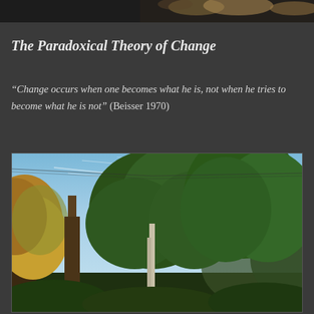[Figure (photo): Partial view of an animal photo at the top of the page, dark background with partial animal image]
The Paradoxical Theory of Change
“Change occurs when one becomes what he is, not when he tries to become what he is not” (Beisser 1970)
[Figure (photo): Outdoor nature photograph showing tall trees with green and yellow-orange autumn foliage against a blue sky with light cloud streaks]